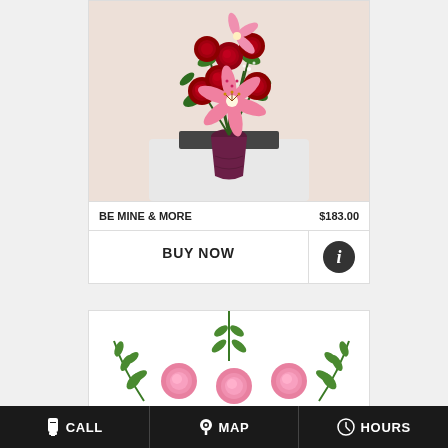[Figure (photo): Floral arrangement in a dark purple vase: red roses and pink stargazer lilies with baby's breath and greenery on a white pedestal with a dark mirror base]
BE MINE & MORE
$183.00
BUY NOW
[Figure (photo): Partial view of a second floral product card showing pink roses and fern greenery on white background]
CALL   MAP   HOURS